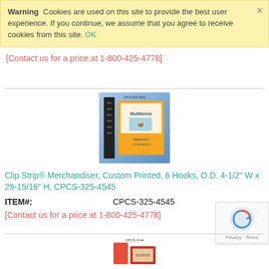Warning  Cookies are used on this site to provide the best user experience. If you continue, we assume that you agree to receive cookies from this site. OK
[Contact us for a price at 1-800-425-4778]
[Figure (photo): Product photo of Clip Strip Merchandiser, Custom Printed, 6 Hooks, labeled CPCS-325-4545]
Clip Strip® Merchandiser, Custom Printed, 6 Hooks, O.D. 4-1/2" W x 29-15/16" H, CPCS-325-4545
ITEM#:    CPCS-325-4545
[Contact us for a price at 1-800-425-4778]
[Figure (photo): Partial product photo at bottom of page, labeled CPCS-3-44]